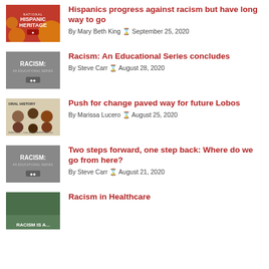[Figure (photo): Hispanic Heritage thumbnail with red background and gear decorations]
Hispanics progress against racism but have long way to go
By Mary Beth King ⌚ September 25, 2020
[Figure (photo): Racism: An Educational Series thumbnail with grey background]
Racism: An Educational Series concludes
By Steve Carr ⌚ August 28, 2020
[Figure (photo): Oral History thumbnail with portraits]
Push for change paved way for future Lobos
By Marissa Lucero ⌚ August 25, 2020
[Figure (photo): Racism: An Educational Series thumbnail with grey background]
Two steps forward, one step back: Where do we go from here?
By Steve Carr ⌚ August 21, 2020
[Figure (photo): Racism is a... sign thumbnail with green background]
Racism in Healthcare